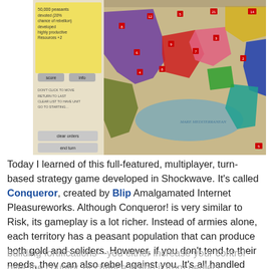[Figure (screenshot): Screenshot of a multiplayer turn-based strategy game called Conqueror, showing a colorful map of Europe and the Mediterranean with territories in purple, red, pink, yellow, green, blue, and other colors, with a UI panel on the left side showing game info and controls including 'clear orders' and 'end turn' buttons.]
Today I learned of this full-featured, multiplayer, turn-based strategy game developed in Shockwave. It's called Conqueror, created by Blip Amalgamated Internet Pleasureworks. Although Conqueror! is very similar to Risk, its gameplay is a lot richer. Instead of armies alone, each territory has a peasant population that can produce both gold and soliders. However, if you don't tend to their needs, they can also rebel against you. It's all handled through a system of influence you maintain over each of your territories—such as sending diplomats, developing culture, and building fortifications—you either increase your control over the country, or chance losing it from neglect.